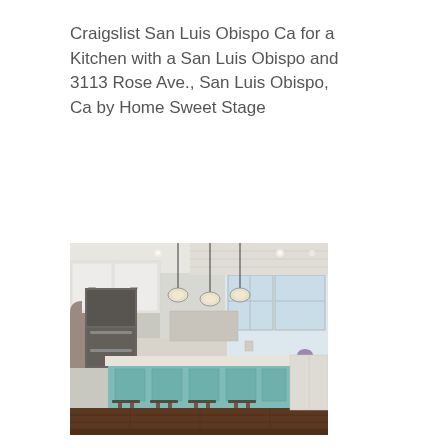Craigslist San Luis Obispo Ca for a Kitchen with a San Luis Obispo and 3113 Rose Ave., San Luis Obispo, Ca by Home Sweet Stage
[Figure (photo): Interior photo of a bright modern kitchen with white upper cabinets, a large teal/mint colored kitchen island with four dark wood barstools, three pendant lights hanging from the ceiling, stainless steel appliances on the left wall, dark hardwood floors, and large windows at the back letting in natural light.]